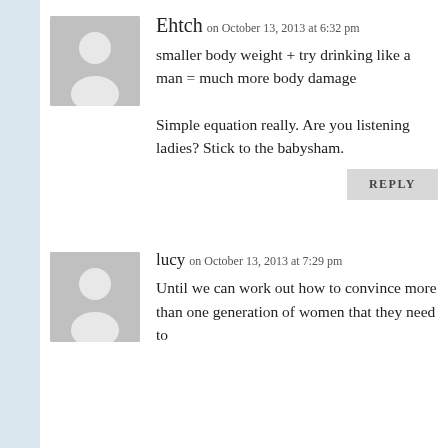Ehtch on October 13, 2013 at 6:32 pm
smaller body weight + try drinking like a man = much more body damage

Simple equation really. Are you listening ladies? Stick to the babysham.
REPLY
lucy on October 13, 2013 at 7:29 pm
Until we can work out how to convince more than one generation of women that they need to